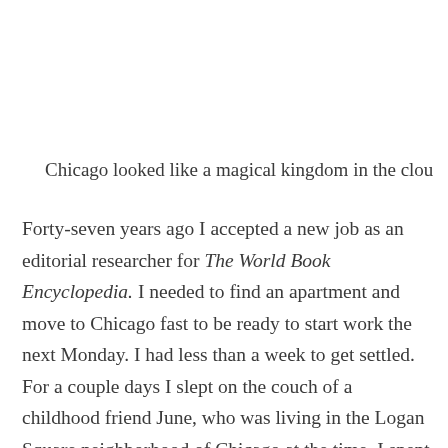Chicago looked like a magical kingdom in the clou…
Forty-seven years ago I accepted a new job as an editorial researcher for The World Book Encyclopedia. I needed to find an apartment and move to Chicago fast to be ready to start work the next Monday. I had less than a week to get settled. For a couple days I slept on the couch of a childhood friend June, who was living in the Logan Square neighborhood of Chicago at the time. I spent a couple days walking the streets of…